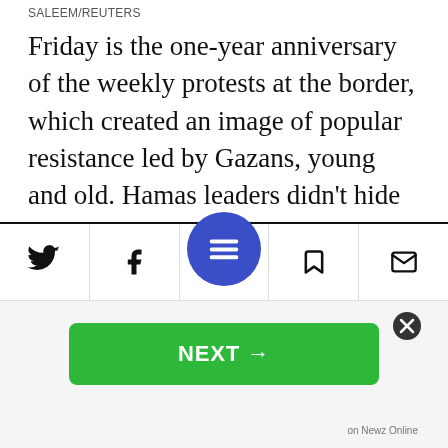SALEEM/REUTERS
Friday is the one-year anniversary of the weekly protests at the border, which created an image of popular resistance led by Gazans, young and old. Hamas leaders didn't hide their satisfaction, and claimed that they had scored a victory by raising the issue of the Israeli blockade of the territory and the humanitarian crisis to the top of the agenda in both Israel and the Arab world (and to a large degree in the international community). Images in the media of large numbers of civilians facing...